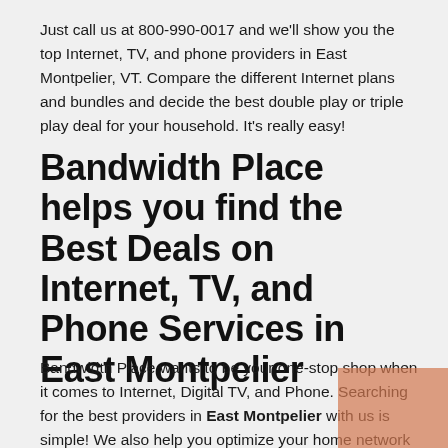Just call us at 800-990-0017 and we'll show you the top Internet, TV, and phone providers in East Montpelier, VT. Compare the different Internet plans and bundles and decide the best double play or triple play deal for your household. It's really easy!
Bandwidth Place helps you find the Best Deals on Internet, TV, and Phone Services in East Montpelier
Bandwidth Place wants to be your one-stop shop when it comes to Internet, Digital TV, and Phone. Searching for the best providers in East Montpelier with us is simple! We also help you optimize your home network for the best